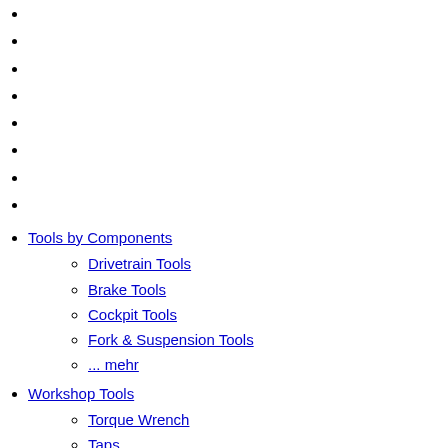Tools by Components
Drivetrain Tools
Brake Tools
Cockpit Tools
Fork & Suspension Tools
... mehr
Workshop Tools
Torque Wrench
Taps
Hammers
Hex Wrenches & Torx
... mehr
Care & Lubricants
Bike Cleaner
Grease
Drivetrain Lube